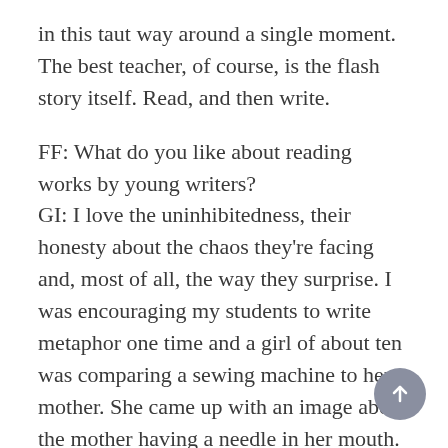in this taut way around a single moment. The best teacher, of course, is the flash story itself. Read, and then write.
FF: What do you like about reading works by young writers?
GI: I love the uninhibitedness, their honesty about the chaos they're facing and, most of all, the way they surprise. I was encouraging my students to write metaphor one time and a girl of about ten was comparing a sewing machine to her mother. She came up with an image about the mother having a needle in her mouth. With a startle, I saw my own mum bent on the floor, doing up my hem, the needle she was working with held in her mouth. Wonderful! I wish I'd come up with